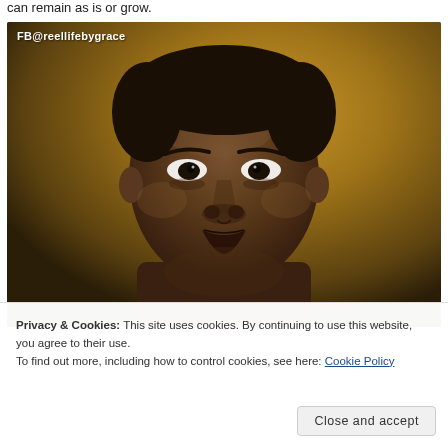can remain as is or grow.
[Figure (photo): Close-up portrait of a young Black man with a serious expression, against a warm golden/brown blurred background. Watermark reads 'FB@reellifebygrace' in top-left corner.]
Privacy & Cookies: This site uses cookies. By continuing to use this website, you agree to their use.
To find out more, including how to control cookies, see here: Cookie Policy
Close and accept